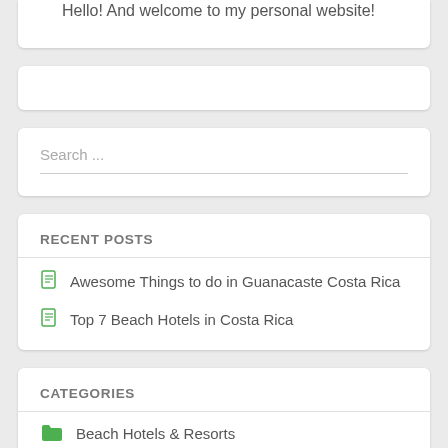Hello! And welcome to my personal website!
Search ...
RECENT POSTS
Awesome Things to do in Guanacaste Costa Rica
Top 7 Beach Hotels in Costa Rica
CATEGORIES
Beach Hotels & Resorts
Guanacaste Tours